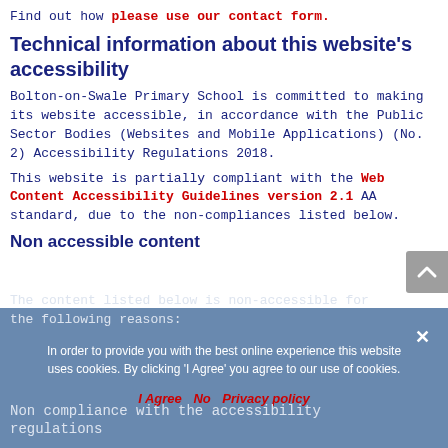Find out how please use our contact form.
Technical information about this website's accessibility
Bolton-on-Swale Primary School is committed to making its website accessible, in accordance with the Public Sector Bodies (Websites and Mobile Applications) (No. 2) Accessibility Regulations 2018.
This website is partially compliant with the Web Content Accessibility Guidelines version 2.1 AA standard, due to the non-compliances listed below.
Non accessible content
The content listed below is non-accessible for the following reasons:
Non compliance with the accessibility regulations
In order to provide you with the best online experience this website uses cookies. By clicking 'I Agree' you agree to our use of cookies.
I Agree   No   Privacy policy